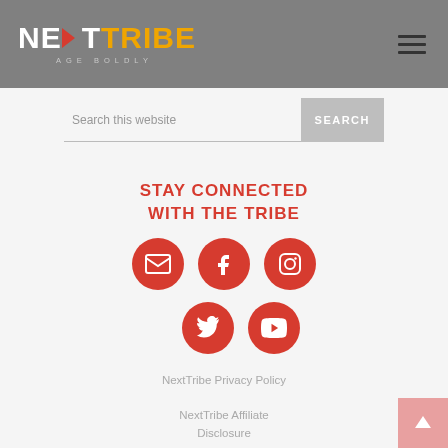[Figure (logo): NextTribe 'Age Boldly' logo in white and orange on grey background header with hamburger menu icon]
Search this website
SEARCH
STAY CONNECTED WITH THE TRIBE
[Figure (infographic): Five red circular social media icons: email, Facebook, Instagram, Twitter, YouTube]
NextTribe Privacy Policy
NextTribe Affiliate Disclosure